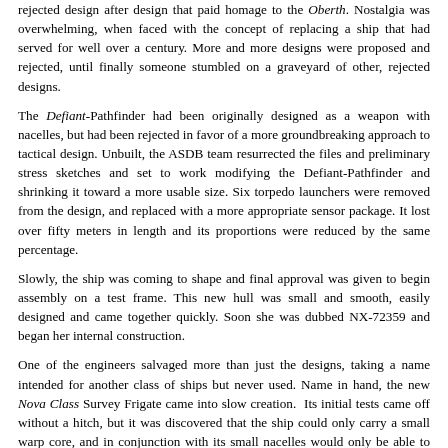rejected design after design that paid homage to the Oberth. Nostalgia was overwhelming, when faced with the concept of replacing a ship that had served for well over a century. More and more designs were proposed and rejected, until finally someone stumbled on a graveyard of other, rejected designs.
The Defiant-Pathfinder had been originally designed as a weapon with nacelles, but had been rejected in favor of a more groundbreaking approach to tactical design. Unbuilt, the ASDB team resurrected the files and preliminary stress sketches and set to work modifying the Defiant-Pathfinder and shrinking it toward a more usable size. Six torpedo launchers were removed from the design, and replaced with a more appropriate sensor package. It lost over fifty meters in length and its proportions were reduced by the same percentage.
Slowly, the ship was coming to shape and final approval was given to begin assembly on a test frame. This new hull was small and smooth, easily designed and came together quickly. Soon she was dubbed NX-72359 and began her internal construction.
One of the engineers salvaged more than just the designs, taking a name intended for another class of ships but never used. Name in hand, the new Nova Class Survey Frigate came into slow creation.  Its initial tests came off without a hitch, but it was discovered that the ship could only carry a small warp core, and in conjunction with its small nacelles would only be able to achieve a maximum speed of around Warp 8. The administration approved the ship anyway and field tests began.
It proved to be a reliable ship, with very few design errors. The limitations in speed were hardly noticed when it carried out test survey missions inside Sol System, but these missions were only a half of its batch of facilities for...